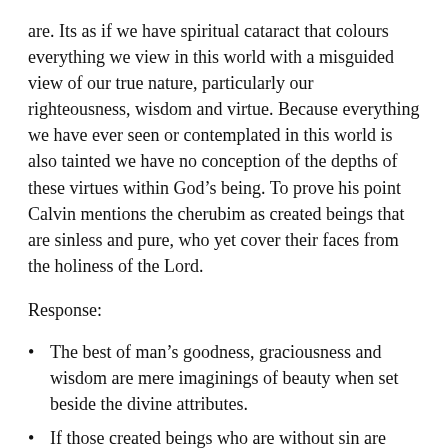are. Its as if we have spiritual cataract that colours everything we view in this world with a misguided view of our true nature, particularly our righteousness, wisdom and virtue. Because everything we have ever seen or contemplated in this world is also tainted we have no conception of the depths of these virtues within God's being. To prove his point Calvin mentions the cherubim as created beings that are sinless and pure, who yet cover their faces from the holiness of the Lord.
Response:
The best of man's goodness, graciousness and wisdom are mere imaginings of beauty when set beside the divine attributes.
If those created beings who are without sin are overwhelmed in God's presence, what should our response be?
If a glimpse of his glory made Moses' face radiant, then to see his true majesty would truly devastate us and yet how